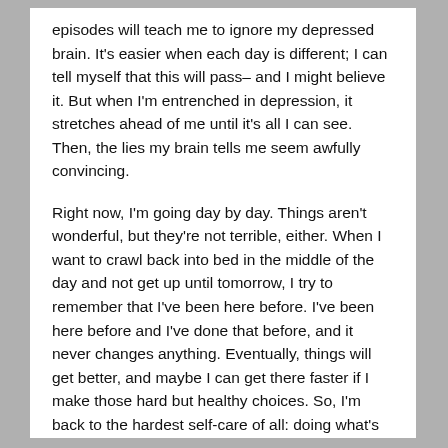episodes will teach me to ignore my depressed brain. It's easier when each day is different; I can tell myself that this will pass– and I might believe it. But when I'm entrenched in depression, it stretches ahead of me until it's all I can see. Then, the lies my brain tells me seem awfully convincing.
Right now, I'm going day by day. Things aren't wonderful, but they're not terrible, either. When I want to crawl back into bed in the middle of the day and not get up until tomorrow, I try to remember that I've been here before. I've been here before and I've done that before, and it never changes anything. Eventually, things will get better, and maybe I can get there faster if I make those hard but healthy choices. So, I'm back to the hardest self-care of all: doing what's best for you even when it's the last thing you